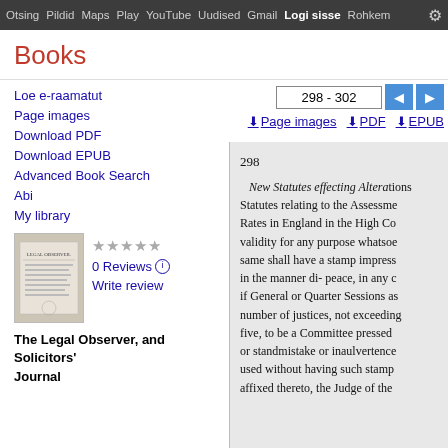Otsing Pildid Maps Play YouTube Uudised Gmail Logi sisse Rohkem
Books
298 - 302
Page images  PDF  EPUB
Loe e-raamatut
Page images
Download PDF
Download EPUB
Advanced Book Search
Abi
My library
[Figure (illustration): Book cover thumbnail for The Legal Observer, and Solicitors' Journal]
0 Reviews  Write review
The Legal Observer, and Solicitors' Journal
298
New Statutes effecting Alterations Statutes relating to the Assessment Rates in England in the High Co validity for any purpose whatsoever same shall have a stamp impressed in the manner di- peace, in any c if General or Quarter Sessions as number of justices, not exceeding five, to be a Committee pressed or standmistake or inaulvertence used without having such stamp affixed thereto, the Judge of the